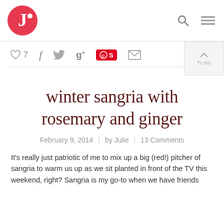Julie's Eats & Treats logo, search and menu icons
[Figure (infographic): Social sharing bar with heart/like count (7), Facebook, Twitter, Google+, Pinterest/Sumome badge, and email icons]
winter sangria with rosemary and ginger
February 9, 2014 | by Julie | 13 Comments
It's really just patriotic of me to mix up a big (red!) pitcher of sangria to warm us up as we sit planted in front of the TV this weekend, right? Sangria is my go-to when we have friends